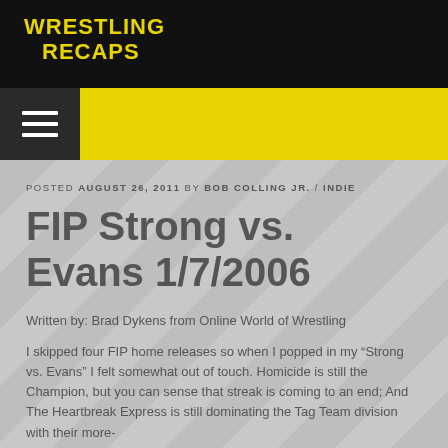Wrestling Recaps
POSTED AUGUST 26, 2011 BY BOB COLLING JR. / INDIE
FIP Strong vs. Evans 1/7/2006
Written by: Brad Dykens from Online World of Wrestling
I skipped four FIP home releases so when I popped in my “Strong vs. Evans” I felt somewhat out of touch. Homicide is still the Champion, but you can sense that streak is coming to an end; And The Heartbreak Express is still dominating the Tag Team division with their more-